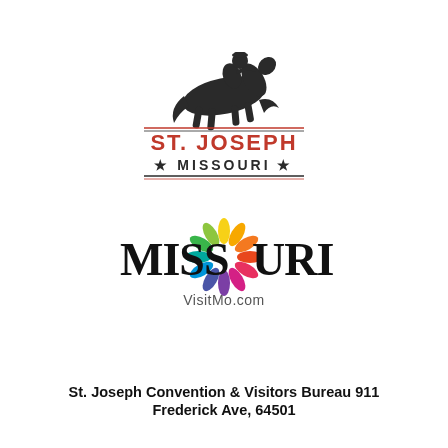[Figure (logo): St. Joseph Missouri logo with silhouette of horse and rider on top, red text ST. JOSEPH with decorative lines, and MISSOURI with stars on each side]
[Figure (logo): Missouri tourism logo with colorful flower-like sunburst replacing the double-o letters, text reads MISSOURI VisitMo.com]
St. Joseph Convention & Visitors Bureau 911 Frederick Ave, 64501